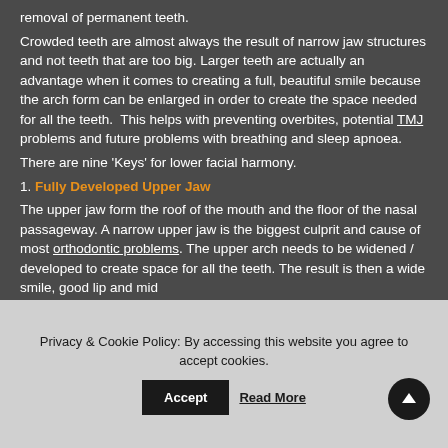removal of permanent teeth.
Crowded teeth are almost always the result of narrow jaw structures and not teeth that are too big. Larger teeth are actually an advantage when it comes to creating a full, beautiful smile because the arch form can be enlarged in order to create the space needed for all the teeth.  This helps with preventing overbites, potential TMJ problems and future problems with breathing and sleep apnoea.
There are nine 'Keys' for lower facial harmony.
1. Fully Developed Upper Jaw
The upper jaw form the roof of the mouth and the floor of the nasal passageway. A narrow upper jaw is the biggest culprit and cause of most orthodontic problems. The upper arch needs to be widened / developed to create space for all the teeth. The result is then a wide smile, good lip and mid
Privacy & Cookie Policy: By accessing this website you agree to accept cookies.
Accept
Read More